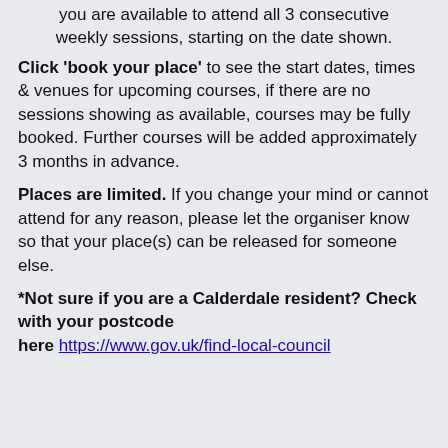you are available to attend all 3 consecutive weekly sessions, starting on the date shown.
Click 'book your place' to see the start dates, times & venues for upcoming courses, if there are no sessions showing as available, courses may be fully booked. Further courses will be added approximately 3 months in advance.
Places are limited. If you change your mind or cannot attend for any reason, please let the organiser know so that your place(s) can be released for someone else.
*Not sure if you are a Calderdale resident? Check with your postcode here https://www.gov.uk/find-local-council